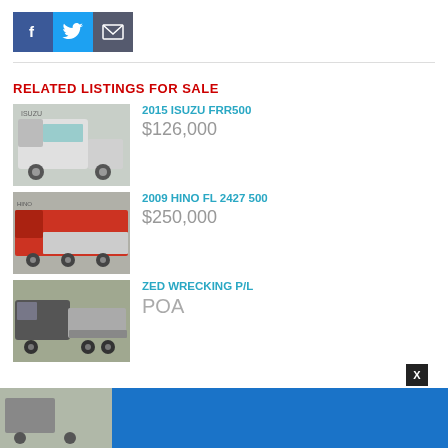[Figure (infographic): Social share buttons: Facebook (blue), Twitter (light blue), Email (dark gray)]
RELATED LISTINGS FOR SALE
[Figure (photo): White Isuzu FRR500 truck parked outdoors]
2015 ISUZU FRR500
$126,000
[Figure (photo): Red Hino FL 2427 500 flatbed truck]
2009 HINO FL 2427 500
$250,000
[Figure (photo): Large semi-truck, Zed Wrecking P/L]
ZED WRECKING P/L
POA
[Figure (photo): Partial truck image at bottom with blue banner advertisement]